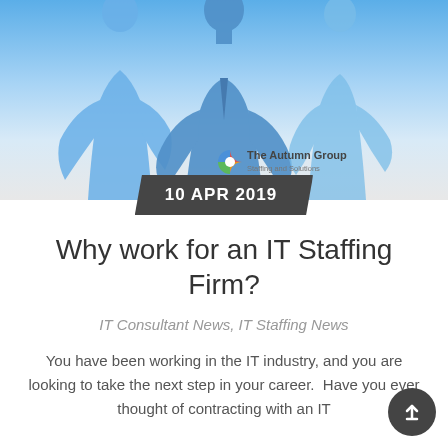[Figure (illustration): Hero banner with blue silhouettes of three business people against a gradient blue-to-white background, with The Autumn Group Staffing and Solutions logo in the center]
10 APR 2019
Why work for an IT Staffing Firm?
IT Consultant News, IT Staffing News
You have been working in the IT industry, and you are looking to take the next step in your career.  Have you ever thought of contracting with an IT